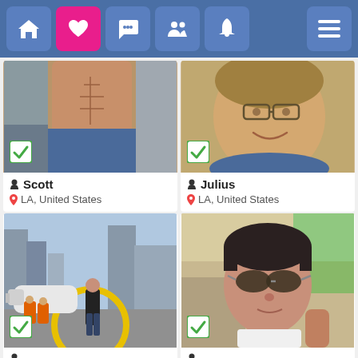Social/dating app navigation bar with home, heart (active/pink), chat, people, bell icons and hamburger menu
[Figure (photo): Shirtless athletic male torso in jeans, indoor setting, green checkbox badge in bottom-left]
Scott
LA, United States
[Figure (photo): Smiling middle-aged man with glasses, close-up portrait outdoors, green checkbox badge in bottom-left]
Julius
LA, United States
[Figure (photo): Man in black jacket standing on helicopter landing pad with cityscape and helicopter in background, green checkbox badge]
[Figure (photo): Young man with dark hair and aviator sunglasses taking selfie in car, green checkbox badge]